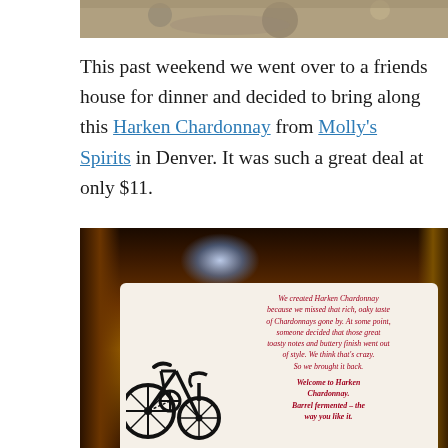[Figure (photo): Top portion of a photo showing a granite/stone surface, partially cropped]
This past weekend we went over to a friends house for dinner and decided to bring along this Harken Chardonnay from Molly's Spirits in Denver. It was such a great deal at only $11.
[Figure (photo): Close-up photo of a Harken Chardonnay wine bottle showing the back label with a bicycle illustration and text: 'We created Harken Chardonnay because we missed that rich, oaky taste of Chardonnays gone by. At some point, someone decided that those great toasty notes and buttery finish went out of style. We think that's crazy. So we brought it back. Welcome to Harken Chardonnay. Barrel fermented – the way you like it.']